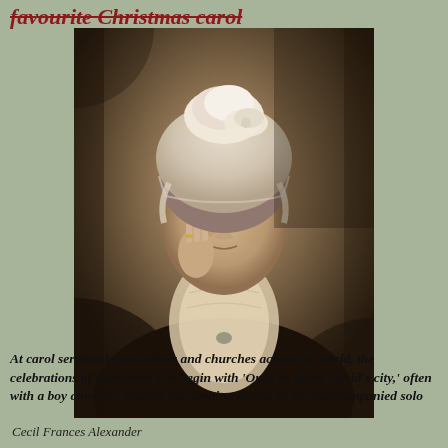favourite Christmas carol
[Figure (photo): Black and white portrait photograph of Cecil Frances Alexander, an older woman wearing a white lace bonnet and dark dress, with her hand raised to her cheek in a thoughtful pose.]
Cecil Frances Alexander
At carol services in cathedrals and churches across the world, the celebrations of Christmas Eve begin with 'Once in Royal David's city,' often with a boy chorister singing the opening stanza as an unaccompanied solo